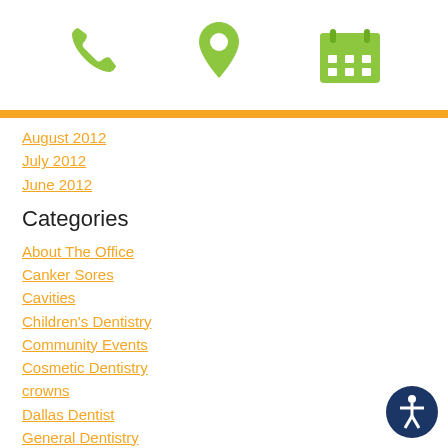[Figure (illustration): Three green icons: a phone handset, a map/location pin, and a calendar grid, displayed in a row in the page header]
August 2012
July 2012
June 2012
Categories
About The Office
Canker Sores
Cavities
Children's Dentistry
Community Events
Cosmetic Dentistry
crowns
Dallas Dentist
General Dentistry
Gum Disease
Invisalign®
Just for Fun
Meet Our Team
[Figure (illustration): Accessibility icon button: dark blue circle with a white person/wheelchair accessibility symbol]